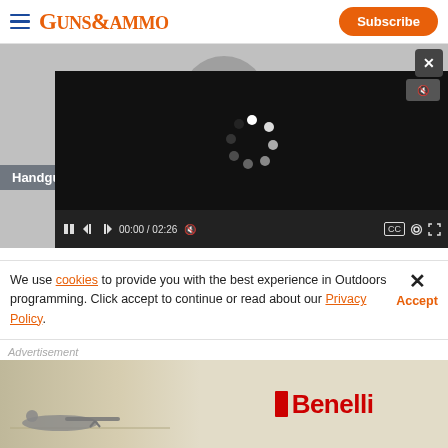GUNS&AMMO  Subscribe
[Figure (screenshot): Video player overlay on grey background with play button. Shows a loading spinner (white dots in circle) on black video panel. Controls bar shows 00:00 / 02:26. Mute icon top right. Close (X) button top right corner.]
Handguns
Range Test... Pistol Review...
We use cookies to provide you with the best experience in Outdoors programming. Click accept to continue or read about our Privacy Policy.
[Figure (photo): Benelli advertisement banner showing a person prone with a rifle in a snowy/outdoor landscape on the left, and the Benelli logo (red rectangle icon + red Benelli text) on the right.]